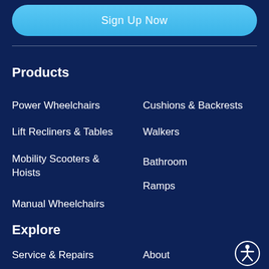Sign Up Now
Products
Power Wheelchairs
Cushions & Backrests
Lift Recliners & Tables
Walkers
Mobility Scooters & Hoists
Bathroom
Ramps
Manual Wheelchairs
Explore
Service & Repairs
About